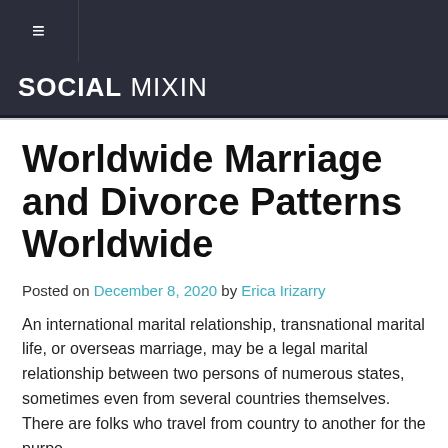≡  SOCIAL MIXIN
Worldwide Marriage and Divorce Patterns Worldwide
Posted on December 8, 2020 by Erica Irizarry
An international marital relationship, transnational marital life, or overseas marriage, may be a legal marital relationship between two persons of numerous states, sometimes even from several countries themselves. There are folks who travel from country to another for the purpose